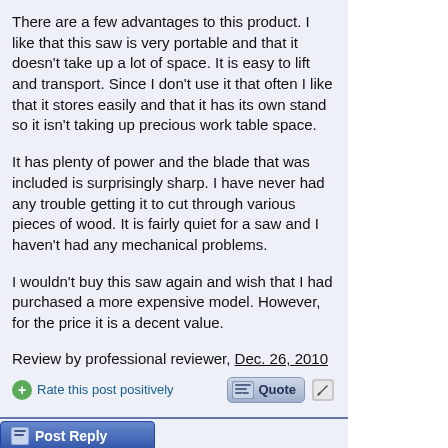There are a few advantages to this product. I like that this saw is very portable and that it doesn't take up a lot of space. It is easy to lift and transport. Since I don't use it that often I like that it stores easily and that it has its own stand so it isn't taking up precious work table space.
It has plenty of power and the blade that was included is surprisingly sharp. I have never had any trouble getting it to cut through various pieces of wood. It is fairly quiet for a saw and I haven't had any mechanical problems.
I wouldn't buy this saw again and wish that I had purchased a more expensive model. However, for the price it is a decent value.
Review by professional reviewer, Dec. 26, 2010
Rate this post positively
Post Reply
Please update this thread with any new information or opinions. This open thread is still read by thousands of people, so we encourage all additional points of view
If you reply, this thread will be bumped to the top of the forum.
Quick Reply